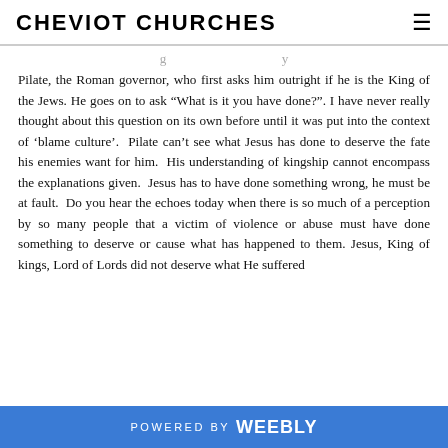CHEVIOT CHURCHES
Pilate, the Roman governor, who first asks him outright if he is the King of the Jews. He goes on to ask “What is it you have done?”. I have never really thought about this question on its own before until it was put into the context of ‘blame culture’. Pilate can’t see what Jesus has done to deserve the fate his enemies want for him. His understanding of kingship cannot encompass the explanations given. Jesus has to have done something wrong, he must be at fault. Do you hear the echoes today when there is so much of a perception by so many people that a victim of violence or abuse must have done something to deserve or cause what has happened to them. Jesus, King of kings, Lord of Lords did not deserve what He suffered
POWERED BY weebly